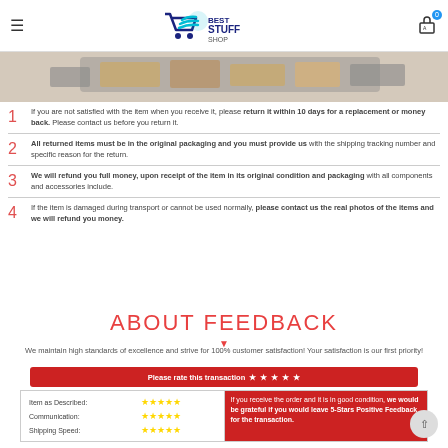Best Stuff Shop - navigation header with logo and cart
[Figure (photo): Partial product image showing packages/boxes in a car trunk]
1. If you are not satisfied with the item when you receive it, please return it within 10 days for a replacement or money back. Please contact us before you return it.
2. All returned items must be in the original packaging and you must provide us with the shipping tracking number and specific reason for the return.
3. We will refund you full money, upon receipt of the item in its original condition and packaging with all components and accessories include.
4. If the item is damaged during transport or cannot be used normally, please contact us the real photos of the items and we will refund you money.
ABOUT FEEDBACK
We maintain high standards of excellence and strive for 100% customer satisfaction! Your satisfaction is our first priority!
Please rate this transaction ★★★★★
| Category | Rating | Message |
| --- | --- | --- |
| Item as Described: | ★★★★★ | If you receive the order and it is in good condition, we would be grateful if you would leave 5-Stars Positive Feedback for the transaction. |
| Communication: | ★★★★★ |  |
| Shipping Speed: | ★★★★★ |  |